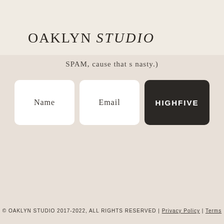OAKLYN STUDIO
SPAM, cause that s nasty.)
[Figure (screenshot): Newsletter signup form with Name input, Email input, and HIGHFIVE submit button]
© OAKLYN STUDIO 2017-2022, ALL RIGHTS RESERVED | Privacy Policy | Terms